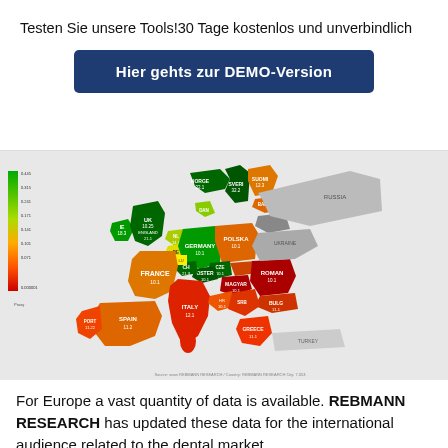Testen Sie unsere Tools!30 Tage kostenlos und unverbindlich
Hier gehts zur DEMO-Version
[Figure (map): Color-coded map of Europe showing dental market data by country. Countries colored from red (low) to green (high) with country labels and values. Color legend on left side.]
For Europe a vast quantity of data is available. REBMANN RESEARCH has updated these data for the international audience related to the dental market.